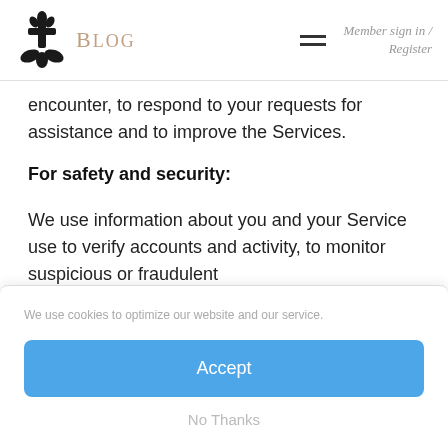Blog | Member sign in / Register
encounter, to respond to your requests for assistance and to improve the Services.
For safety and security:
We use information about you and your Service use to verify accounts and activity, to monitor suspicious or fraudulent
We use cookies to optimize our website and our service.
Accept
No Thanks